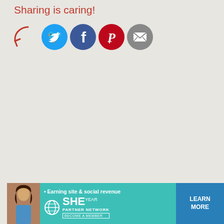Sharing is caring!
[Figure (infographic): Social sharing icons: Twitter (blue circle), Facebook (dark blue circle), Pinterest (red circle), Email (gray circle), with a red hand-drawn arrow pointing to them]
[Figure (infographic): Advertisement banner: SHE Partner Network - Earning site & social revenue - LEARN MORE - BECOME A MEMBER, with a photo of a woman]